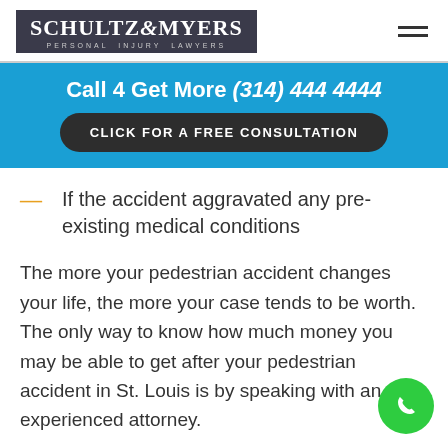[Figure (logo): Schultz & Myers Personal Injury Lawyers logo — dark background with white serif text]
Call 4 Get More (314) 444 4444
CLICK FOR A FREE CONSULTATION
If the accident aggravated any pre-existing medical conditions
The more your pedestrian accident changes your life, the more your case tends to be worth. The only way to know how much money you may be able to get after your pedestrian accident in St. Louis is by speaking with an experienced attorney.